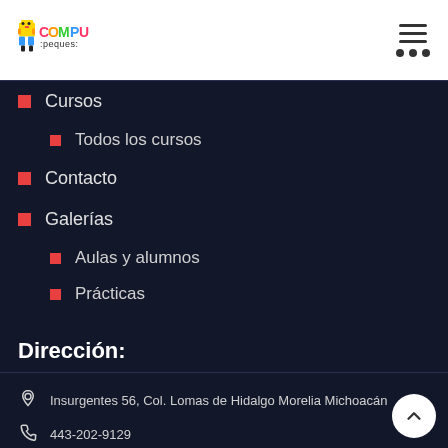[Figure (logo): CompuPeques colorful logo with cartoon robot mascot]
Cursos
Todos los cursos
Contacto
Galerías
Aulas y alumnos
Prácticas
Dirección:
Insurgentes 56, Col. Lomas de Hidalgo Morelia Michoacán
443-202-9129